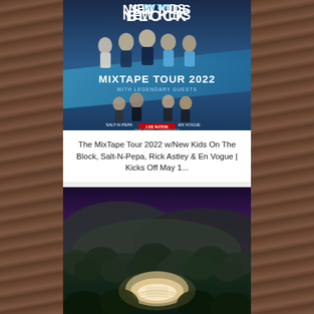[Figure (illustration): Concert promotional poster for New Kids On The Block MixTape Tour 2022 with legendary guests Salt-N-Pepa, Rick Astley, En Vogue. Live Nation event.]
The MixTape Tour 2022 w/New Kids On The Block, Salt-N-Pepa, Rick Astley & En Vogue | Kicks Off May 1...
[Figure (photo): Aerial night-time photograph of the Hollywood Bowl amphitheater surrounded by trees and hills at dusk with purple sky.]
The 42nd Annual Hollywood Bowl Jazz Festival | June 25th-26th, 2022